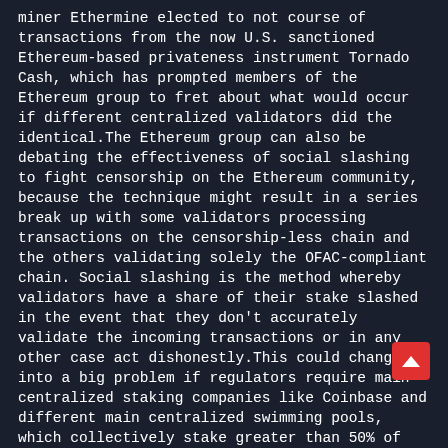miner Ethermine elected to not course of transactions from the now U.S. sanctioned Ethereum-based privateness instrument Tornado Cash, which has prompted members of the Ethereum group to fret about what would occur if different centralized validators did the identical. The Ethereum group can also be debating the effectiveness of social slashing to fight censorship on the Ethereum community, because the technique might result in a series break up with some validators processing transactions on the censorship-less chain and the others validating solely the OFAC-compliant chain. Social slashing is the method whereby validators have a share of their stake slashed in the event that they don't accurately validate the incoming transactions or in any other case act dishonestly. This could change into a big problem if regulators require main centralized staking companies like Coinbase and different main centralized swimming pools, which collectively stake greater than 50% of Ether (ETH) within the Ethereum Beacon 2.0 chain to solely validate OFAC-compliant chains. Founder of Cyber Capital Justin Bons argues that slashing "is a trap" that "represents a greater risk than the OFAC regulation" and won't be a viable resolution to sort out